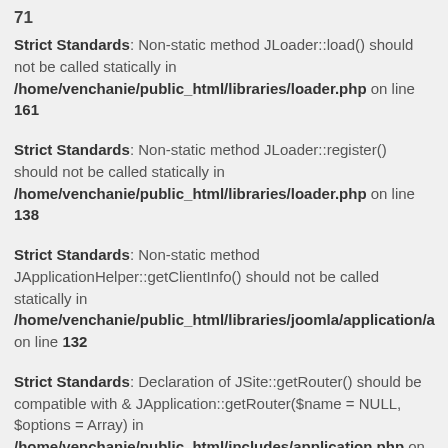71
Strict Standards: Non-static method JLoader::load() should not be called statically in /home/venchanie/public_html/libraries/loader.php on line 161
Strict Standards: Non-static method JLoader::register() should not be called statically in /home/venchanie/public_html/libraries/loader.php on line 138
Strict Standards: Non-static method JApplicationHelper::getClientInfo() should not be called statically in /home/venchanie/public_html/libraries/joomla/application/a on line 132
Strict Standards: Declaration of JSite::getRouter() should be compatible with & JApplication::getRouter($name = NULL, $options = Array) in /home/venchanie/public_html/includes/application.php on